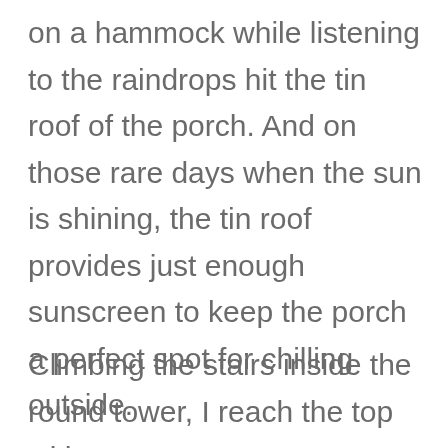on a hammock while listening to the raindrops hit the tin roof of the porch. And on those rare days when the sun is shining, the tin roof provides just enough sunscreen to keep the porch a perfect spot for chilling outside.
Climbing the stairs inside the round tower, I reach the top with a